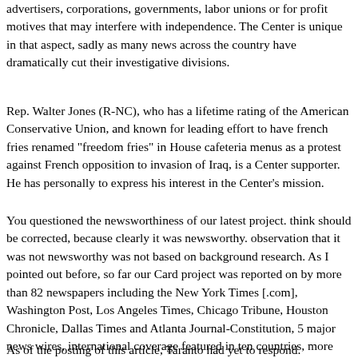advertisers, corporations, governments, labor unions or for profit motives that may interfere with independence. The Center is unique in that aspect, sadly as many news across the country have dramatically cut their investigative divisions.
Rep. Walter Jones (R-NC), who has a lifetime rating of the American Conservative Union, and known for leading effort to have french fries renamed "freedom fries" in House cafeteria menus as a protest against French opposition to invasion of Iraq, is a Center supporter. He has personally to express his interest in the Center's mission.
You questioned the newsworthiness of our latest project. think should be corrected, because clearly it was newsworthy. observation that it was not newsworthy was not based on background research. As I pointed out before, so far our Card project was reported on by more than 82 newspapers including the New York Times [.com], Washington Post, Los Angeles Times, Chicago Tribune, Houston Chronicle, Dallas Times and Atlanta Journal-Constitution, 5 major news wires, international coverage featured in ten countries, more than a dozen national radio and television interviews, 14 newspaper editorials and more than 3,000 blogs and counting.
As of the posting of this article, Taranto had yet to respond.